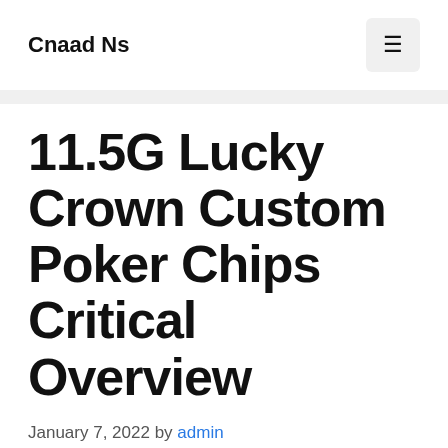Cnaad Ns
11.5G Lucky Crown Custom Poker Chips Critical Overview
January 7, 2022 by admin
When playing baccarat thus, they can object